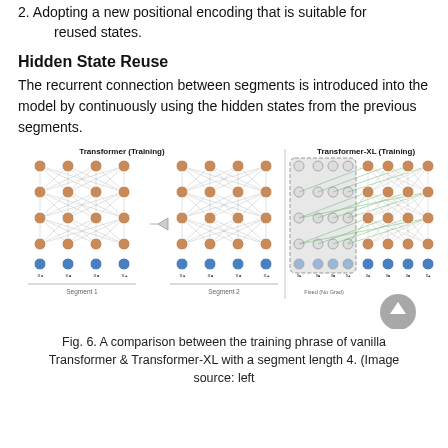2. Adopting a new positional encoding that is suitable for reused states.
Hidden State Reuse
The recurrent connection between segments is introduced into the model by continuously using the hidden states from the previous segments.
[Figure (illustration): Diagram comparing Transformer (Training) and Transformer-XL (Training). Left side shows two segments with nodes connected by lines across layers. Right side shows Transformer-XL with a dashed box around cached (frozen, no grad) states and green lines indicating reuse of hidden states from previous segment.]
Fig. 6. A comparison between the training phrase of vanilla Transformer & Transformer-XL with a segment length 4. (Image source: left